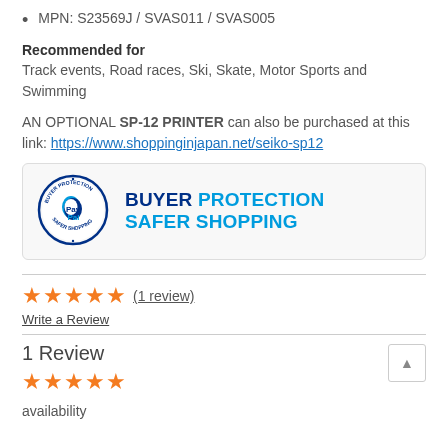MPN: S23569J / SVAS011 / SVAS005
Recommended for
Track events, Road races, Ski, Skate, Motor Sports and Swimming
AN OPTIONAL SP-12 PRINTER can also be purchased at this link: https://www.shoppinginjapan.net/seiko-sp12
[Figure (logo): PayPal Buyer Protection Safer Shopping badge with circular PayPal logo and text BUYER PROTECTION SAFER SHOPPING]
★★★★★ (1 review)
Write a Review
1 Review
★★★★★
availability